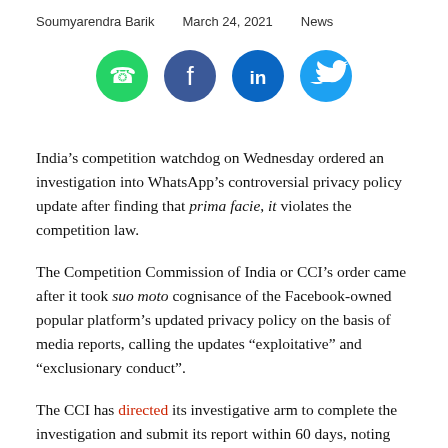Soumyarendra Barik   March 24, 2021   News
[Figure (infographic): Four social media share buttons: WhatsApp (green), Facebook (dark blue), LinkedIn (blue), Twitter (light blue)]
India’s competition watchdog on Wednesday ordered an investigation into WhatsApp’s controversial privacy policy update after finding that prima facie, it violates the competition law.
The Competition Commission of India or CCI’s order came after it took suo moto cognisance of the Facebook-owned popular platform’s updated privacy policy on the basis of media reports, calling the updates “exploitative” and “exclusionary conduct”.
The CCI has directed its investigative arm to complete the investigation and submit its report within 60 days, noting that a thorough and detailed investigation was necessary to ascertain the full extent, scope and impact of data sharing